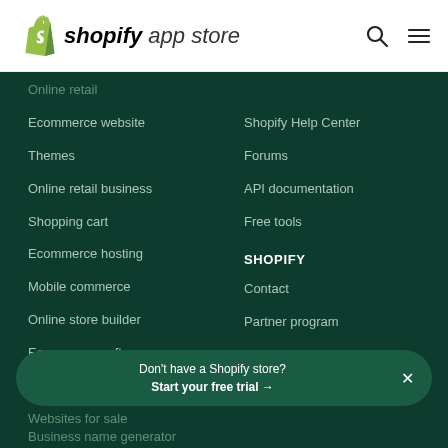Shopify App Store
Online retail
Ecommerce website
Themes
Online retail business
Shopping cart
Ecommerce hosting
Mobile commerce
Online store builder
Ecommerce software
Free stock photos
Websites for sale
Business name generator
Shopify Help Center
Forums
API documentation
Free tools
SHOPIFY
Contact
Partner program
Affiliate program
App developers
Don't have a Shopify store? Start your free trial →